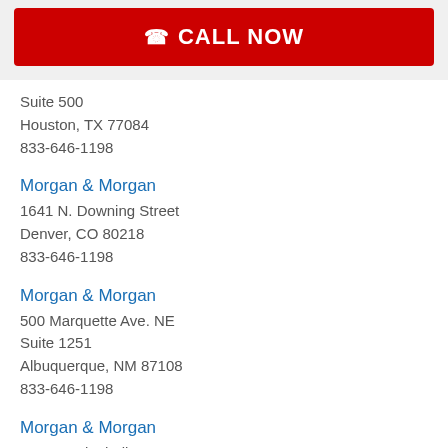[Figure (other): Red CALL NOW button with phone icon]
Suite 500
Houston, TX 77084
833-646-1198
Morgan & Morgan
1641 N. Downing Street
Denver, CO 80218
833-646-1198
Morgan & Morgan
500 Marquette Ave. NE
Suite 1251
Albuquerque, NM 87108
833-646-1198
Morgan & Morgan
5 W Mendenhall St
Suite 235
Bozeman, MT 59715
833-646-1198